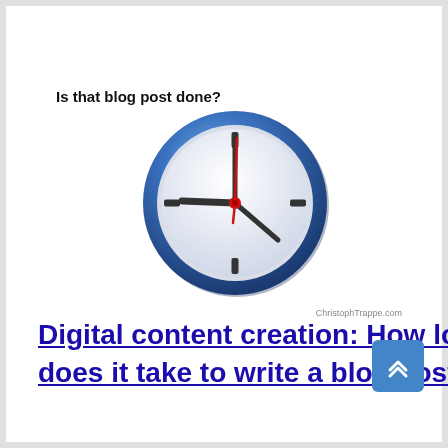Is that blog post done?
[Figure (illustration): A clock face showing approximately 3:00 with hour hand pointing left, minute hand pointing to 12, and red second hand pointing up. Blue outer ring with metallic gloss effect. Small tick marks at 12, 3, 6, and 9 positions.]
ChristophTrappe.com
Digital content creation: How long does it take to write a blog post?